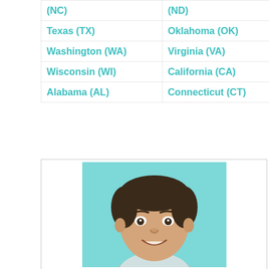| (NC) | (ND) |
| Texas (TX) | Oklahoma (OK) |
| Washington (WA) | Virginia (VA) |
| Wisconsin (WI) | California (CA) |
| Alabama (AL) | Connecticut (CT) |
[Figure (photo): Headshot photo of a young man smiling, on a light teal/blue background]